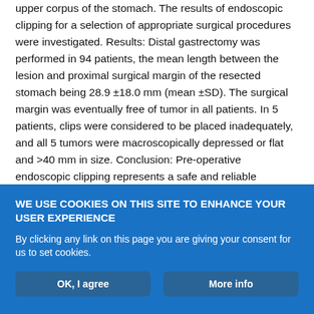upper corpus of the stomach. The results of endoscopic clipping for a selection of appropriate surgical procedures were investigated. Results: Distal gastrectomy was performed in 94 patients, the mean length between the lesion and proximal surgical margin of the resected stomach being 28.9 ±18.0 mm (mean ±SD). The surgical margin was eventually free of tumor in all patients. In 5 patients, clips were considered to be placed inadequately, and all 5 tumors were macroscopically depressed or flat and >40 mm in size. Conclusion: Pre-operative endoscopic clipping represents a safe and reliable procedure to determine the resection line for tumors located in the middle or upper corpus of the stomach for treatment of early gastric cancer. During surgical resection, frozen section examination of the proximal cut end is recommended for patients with tumors that are
WE USE COOKIES ON THIS SITE TO ENHANCE YOUR USER EXPERIENCE
By clicking any link on this page you are giving your consent for us to set cookies.